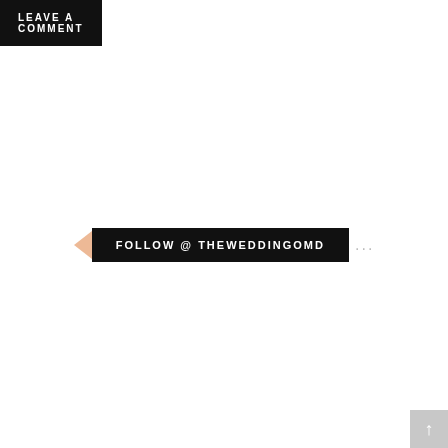LEAVE A COMMENT
FOLLOW @ THEWEDDINGOMD
[Figure (logo): The Wedding of my Dreams logo/brand card on a cream/beige background with stylized serif and script typography]
By continuing to use the site, you agree to the use of cookies.
more information
Accept